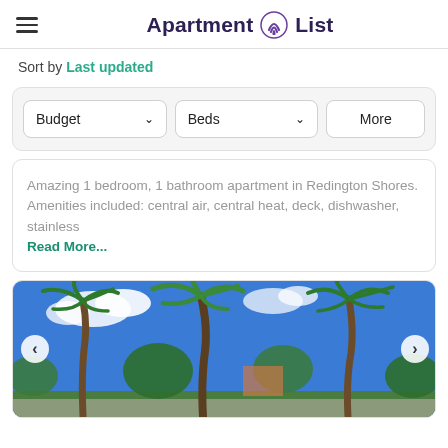Apartment List
Sort by Last updated
Budget  Beds  More
Amazing 1 bedroom, 1 bathroom apartment in Redington Shores. Amenities included: central air, central heat, deck, dishwasher, stainless Read More...
[Figure (photo): Outdoor photo showing palm trees under a blue sky with clouds, with a street and buildings visible in the background. Navigation arrows on left and right sides.]